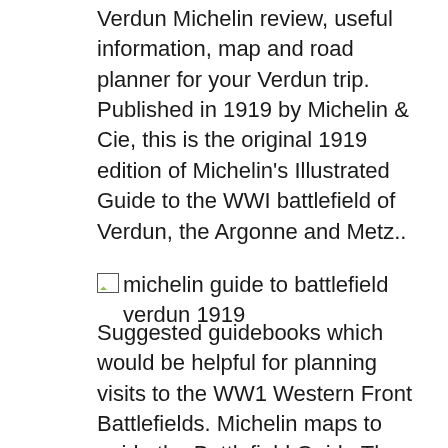Verdun Michelin review, useful information, map and road planner for your Verdun trip. Published in 1919 by Michelin & Cie, this is the original 1919 edition of Michelin's Illustrated Guide to the WWI battlefield of Verdun, the Argonne and Metz..
[Figure (photo): Broken image placeholder for 'michelin guide to battlefield verdun 1919']
Suggested guidebooks which would be helpful for planning visits to the WW1 Western Front Battlefields. Michelin maps to guide the Battlefield Guide The hotel also offers car hire. American Cemetery is 400 metres from Les